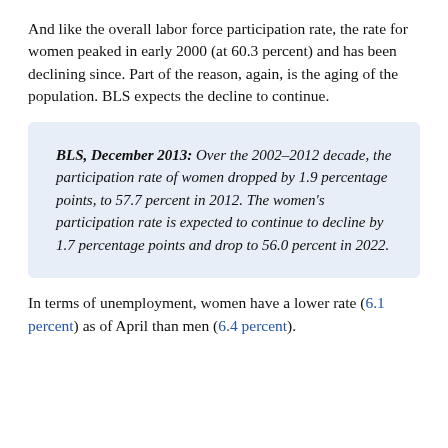And like the overall labor force participation rate, the rate for women peaked in early 2000 (at 60.3 percent) and has been declining since. Part of the reason, again, is the aging of the population. BLS expects the decline to continue.
BLS, December 2013: Over the 2002–2012 decade, the participation rate of women dropped by 1.9 percentage points, to 57.7 percent in 2012. The women's participation rate is expected to continue to decline by 1.7 percentage points and drop to 56.0 percent in 2022.
In terms of unemployment, women have a lower rate (6.1 percent) as of April than men (6.4 percent).